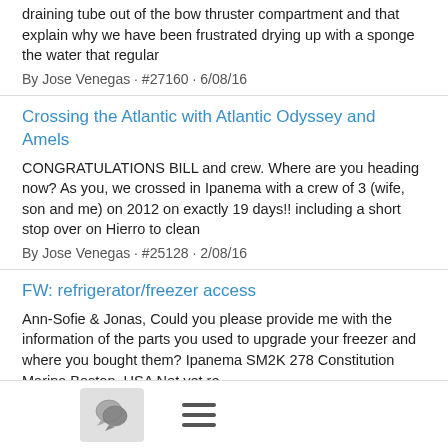draining tube out of the bow thruster compartment and that explain why we have been frustrated drying up with a sponge the water that regular
By Jose Venegas · #27160 · 6/08/16
Crossing the Atlantic with Atlantic Odyssey and Amels
CONGRATULATIONS BILL and crew. Where are you heading now? As you, we crossed in Ipanema with a crew of 3 (wife, son and me) on 2012 on exactly 19 days!! including a short stop over on Hierro to clean
By Jose Venegas · #25128 · 2/08/16
FW: refrigerator/freezer access
Ann-Sofie & Jonas, Could you please provide me with the information of the parts you used to upgrade your freezer and where you bought them? Ipanema SM2K 278 Constitution Marina Boston, USA Not yet re
By Jose Venegas · #21119 · 5/03/15
[Figure (other): Footer bar with chat bubble icon button and hamburger menu icon]